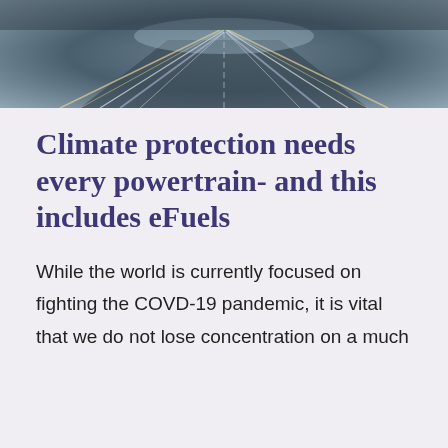[Figure (photo): Aerial or top-down long-exposure photograph of a highway at night, showing streaks of light from vehicles, perspective lines converging toward the center.]
Climate protection needs every powertrain- and this includes eFuels
While the world is currently focused on fighting the COVD-19 pandemic, it is vital that we do not lose concentration on a much